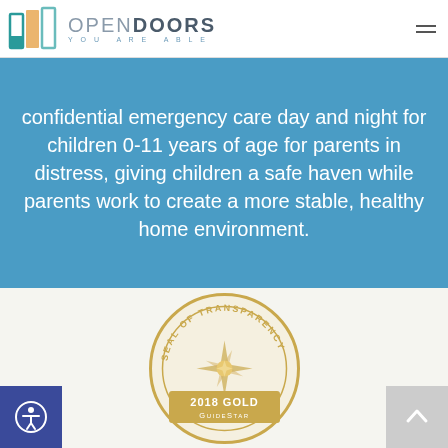[Figure (logo): Open Doors 'You Are Able' organization logo with colored door icons and hamburger menu icon]
confidential emergency care day and night for children 0-11 years of age for parents in distress, giving children a safe haven while parents work to create a more stable, healthy home environment.
[Figure (illustration): GuideStar Seal of Transparency 2018 Gold badge — circular gold seal with compass star design, text reading 'SEAL OF TRANSPARENCY', '2018 GOLD', and 'GUIDESTAR']